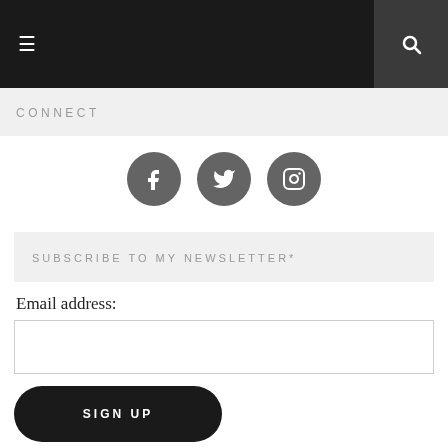≡  🔍
CONNECT
[Figure (illustration): Three circular dark grey social media icon buttons: Facebook (f), Twitter (bird), Instagram (camera)]
SUBSCRIBE TO MY NEWSLETTER*
Email address:
SIGN UP
* Newsletter is sent out monthly(ish). Includes the latest blog post, recommended interweb reads on writing and publishing, giveaways, book recommendations and more awesome